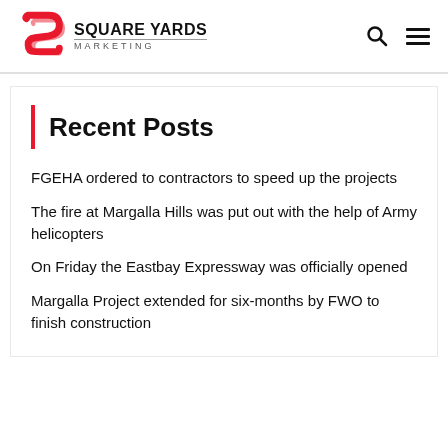Square Yards Marketing
Recent Posts
FGEHA ordered to contractors to speed up the projects
The fire at Margalla Hills was put out with the help of Army helicopters
On Friday the Eastbay Expressway was officially opened
Margalla Project extended for six-months by FWO to finish construction